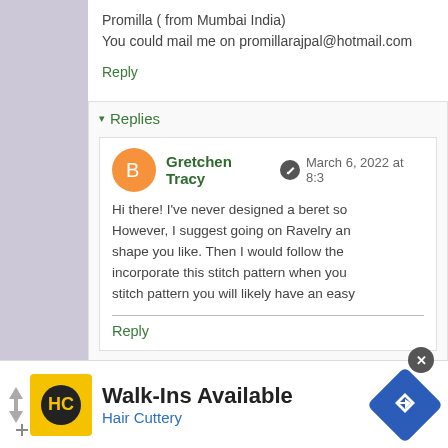Promilla ( from Mumbai India)
You could mail me on promillarajpal@hotmail.com
Reply
▾ Replies
Gretchen Tracy  March 6, 2022 at 8:3
Hi there! I've never designed a beret so However, I suggest going on Ravelry an shape you like. Then I would follow the incorporate this stitch pattern when you stitch pattern you will likely have an easy
Reply
Enter Comment
Walk-Ins Available
Hair Cuttery